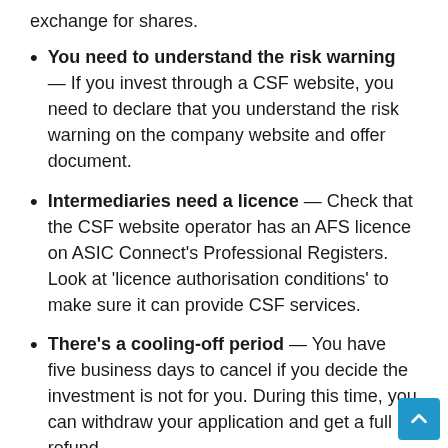exchange for shares.
You need to understand the risk warning — If you invest through a CSF website, you need to declare that you understand the risk warning on the company website and offer document.
Intermediaries need a licence — Check that the CSF website operator has an AFS licence on ASIC Connect's Professional Registers. Look at 'licence authorisation conditions' to make sure it can provide CSF services.
There's a cooling-off period — You have five business days to cancel if you decide the investment is not for you. During this time, you can withdraw your application and get a full refund.
Risks of crowd-sourced funding